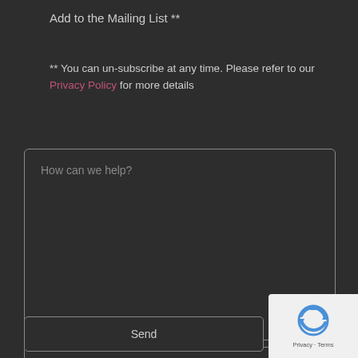Add to the Mailing List **
** You can un-subscribe at any time. Please refer to our Privacy Policy for more details
[Figure (screenshot): A dark-themed web form textarea with placeholder text 'How can we help?', a 'Send' button below, and a reCAPTCHA badge in the bottom-right corner showing the reCAPTCHA logo with 'Privacy - Terms' links]